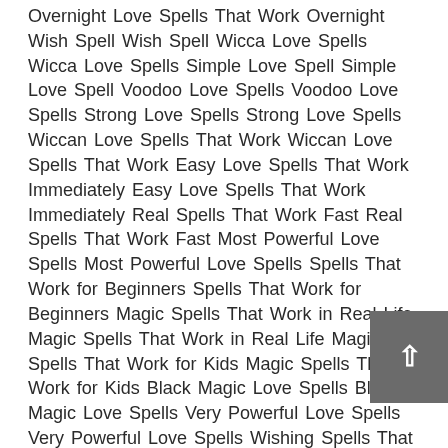Overnight Love Spells That Work Overnight Wish Spell Wish Spell Wicca Love Spells Wicca Love Spells Simple Love Spell Simple Love Spell Voodoo Love Spells Voodoo Love Spells Strong Love Spells Strong Love Spells Wiccan Love Spells That Work Wiccan Love Spells That Work Easy Love Spells That Work Immediately Easy Love Spells That Work Immediately Real Spells That Work Fast Real Spells That Work Fast Most Powerful Love Spells Most Powerful Love Spells Spells That Work for Beginners Spells That Work for Beginners Magic Spells That Work in Real Life Magic Spells That Work in Real Life Magic Spells That Work for Kids Magic Spells That Work for Kids Black Magic Love Spells Black Magic Love Spells Very Powerful Love Spells Very Powerful Love Spells Wishing Spells That Work Wishing Spells That Work Dark Spells That Work Dark Spells That Work Ancient Magic Spells That Work Ancient Magic Spells That Work Charmed Love Spells Charmed Love Spells Psychic Love Spell